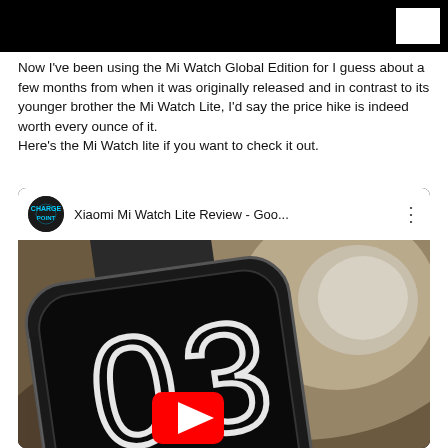Now I've been using the Mi Watch Global Edition for I guess about a few months from when it was originally released and in contrast to its younger brother the Mi Watch Lite, I'd say the price hike is indeed worth every ounce of it.
Here's the Mi Watch lite if you want to check it out.
[Figure (screenshot): YouTube video embed showing 'Xiaomi Mi Watch Lite Review - Goo...' with a thumbnail of a smartwatch face displaying '03' and a YouTube play button overlay. Channel icon shows 'CHARGE POINT' logo.]